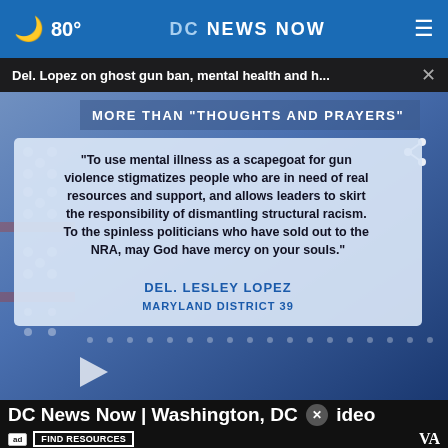🌙 80°  DC NEWS NOW  ☰
Del. Lopez on ghost gun ban, mental health and h...  ×
[Figure (screenshot): Video thumbnail showing a quote card on a blue background with a decorative star pattern. Text reads: MORE THAN 'THOUGHTS AND PRAYERS' with a quote: 'To use mental illness as a scapegoat for gun violence stigmatizes people who are in need of real resources and support, and allows leaders to skirt the responsibility of dismantling structural racism. To the spinless politicians who have sold out to the NRA, may God have mercy on your souls.' — DEL. LESLEY LOPEZ, MARYLAND DISTRICT 39. A play button is visible at the bottom left.]
DC News Now | Washington, DC  × ideo
ad FIND RESOURCES  VA